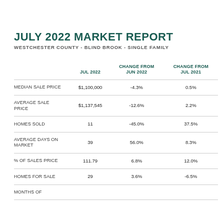JULY 2022 MARKET REPORT
WESTCHESTER COUNTY - BLIND BROOK - SINGLE FAMILY
|  | JUL 2022 | CHANGE FROM JUN 2022 | CHANGE FROM JUL 2021 |
| --- | --- | --- | --- |
| MEDIAN SALE PRICE | $1,100,000 | -4.3% | 0.5% |
| AVERAGE SALE PRICE | $1,137,545 | -12.6% | 2.2% |
| HOMES SOLD | 11 | -45.0% | 37.5% |
| AVERAGE DAYS ON MARKET | 39 | 56.0% | 8.3% |
| % OF SALES PRICE | 111.79 | 6.8% | 12.0% |
| HOMES FOR SALE | 29 | 3.6% | -6.5% |
| MONTHS OF |  |  |  |